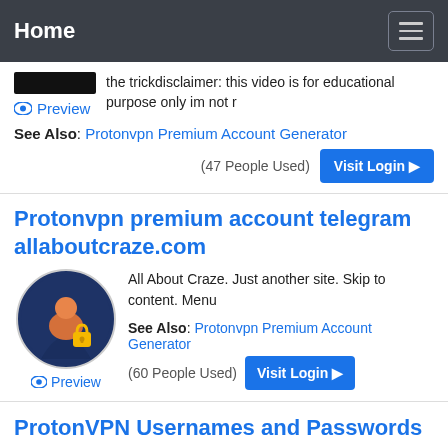Home
the trickdisclaimer: this video is for educational purpose only im not r
Preview
See Also: Protonvpn Premium Account Generator
(47 People Used)
Visit Login ▶
Protonvpn premium account telegram allaboutcraze.com
[Figure (illustration): Circular dark blue icon with an orange person figure and a yellow padlock]
Preview
All About Craze. Just another site. Skip to content. Menu
See Also: Protonvpn Premium Account Generator
(60 People Used)
Visit Login ▶
ProtonVPN Usernames and Passwords